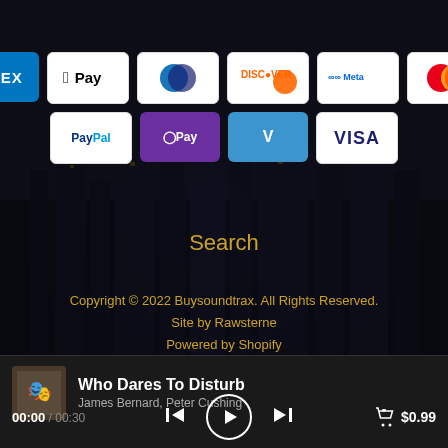[Figure (screenshot): Payment method icons: AMEX, Apple Pay, Diners Club, Discover, Meta, Mastercard, PayPal, OPay, Venmo, VISA]
Search
Copyright © 2022 Buysoundtrax. All Rights Reserved.
Site by Rawsterne
Powered by Shopify
Who Dares To Disturb
James Bernard, Peter Cushing
00:00 / 00:30 $0.99